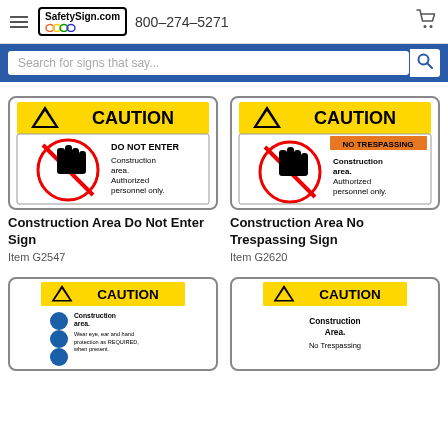SafetySign.com   800-274-5271
Search for signs that say...
[Figure (illustration): Caution Do Not Enter sign - yellow caution header with warning triangle, red circle with hand symbol, text: DO NOT ENTER Construction area. Authorized personnel only.]
Construction Area Do Not Enter Sign
Item G2547
[Figure (illustration): Caution No Trespassing sign - yellow caution header with warning triangle, red circle with hand symbol, orange NO TRESPASSING bar, text: Construction area. Authorized personnel only.]
Construction Area No Trespassing Sign
Item G2620
[Figure (illustration): Caution Construction Area sign with blue PPE icons - eye, ear and hand protection required text visible at bottom]
[Figure (illustration): Caution Construction Area No Trespassing sign - partial view at bottom of page]